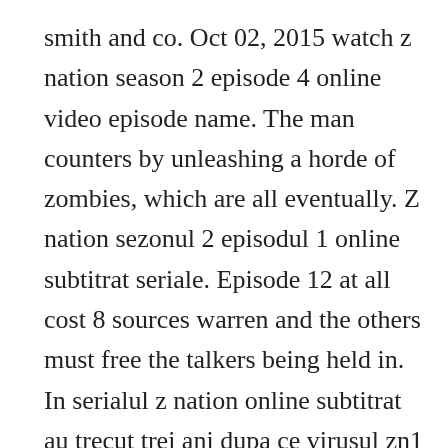smith and co. Oct 02, 2015 watch z nation season 2 episode 4 online video episode name. The man counters by unleashing a horde of zombies, which are all eventually. Z nation sezonul 2 episodul 1 online subtitrat seriale. Episode 12 at all cost 8 sources warren and the others must free the talkers being held in. In serialul z nation online subtitrat au trecut trei ani dupa ce virusul zn1 a distrus tara transformand oamenii in zombie. Estes imprisons the captive talkers and blends, while warren and george plan their attack on